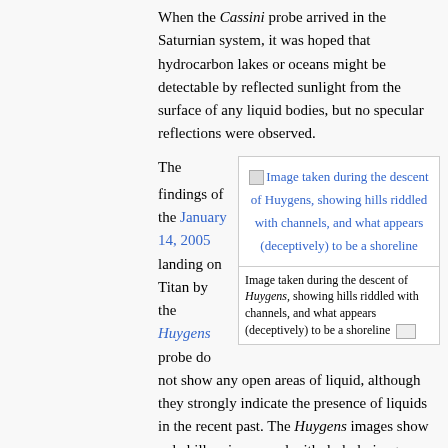When the Cassini probe arrived in the Saturnian system, it was hoped that hydrocarbon lakes or oceans might be detectable by reflected sunlight from the surface of any liquid bodies, but no specular reflections were observed.
The
[Figure (photo): Image taken during the descent of Huygens, showing hills riddled with channels, and what appears (deceptively) to be a shoreline. Shown as a broken image placeholder with blue link text and a caption below.]
Image taken during the descent of Huygens, showing hills riddled with channels, and what appears (deceptively) to be a shoreline
findings of the January 14, 2005 landing on Titan by the Huygens probe do not show any open areas of liquid, although they strongly indicate the presence of liquids in the recent past. The Huygens images show pale hills crisscrossed with dark drainage channels. The channels lead into a wide, flat, darker region. It was initially thought that the dark region might